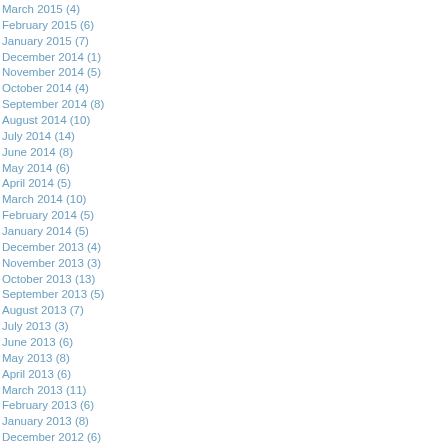March 2015 (4)
February 2015 (6)
January 2015 (7)
December 2014 (1)
November 2014 (5)
October 2014 (4)
September 2014 (8)
August 2014 (10)
July 2014 (14)
June 2014 (8)
May 2014 (6)
April 2014 (5)
March 2014 (10)
February 2014 (5)
January 2014 (5)
December 2013 (4)
November 2013 (3)
October 2013 (13)
September 2013 (5)
August 2013 (7)
July 2013 (3)
June 2013 (6)
May 2013 (8)
April 2013 (6)
March 2013 (11)
February 2013 (6)
January 2013 (8)
December 2012 (6)
November 2012 (10)